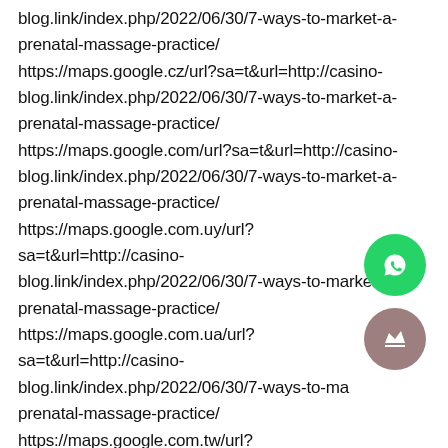blog.link/index.php/2022/06/30/7-ways-to-market-a-prenatal-massage-practice/ https://maps.google.cz/url?sa=t&url=http://casino-blog.link/index.php/2022/06/30/7-ways-to-market-a-prenatal-massage-practice/ https://maps.google.com/url?sa=t&url=http://casino-blog.link/index.php/2022/06/30/7-ways-to-market-a-prenatal-massage-practice/ https://maps.google.com.uy/url?sa=t&url=http://casino-blog.link/index.php/2022/06/30/7-ways-to-market-a-prenatal-massage-practice/ https://maps.google.com.ua/url?sa=t&url=http://casino-blog.link/index.php/2022/06/30/7-ways-to-market-a-prenatal-massage-practice/ https://maps.google.com.tw/url?
[Figure (illustration): Green circular WhatsApp button with white phone/chat icon]
[Figure (illustration): Mauve/brown circular button with white crown icon]